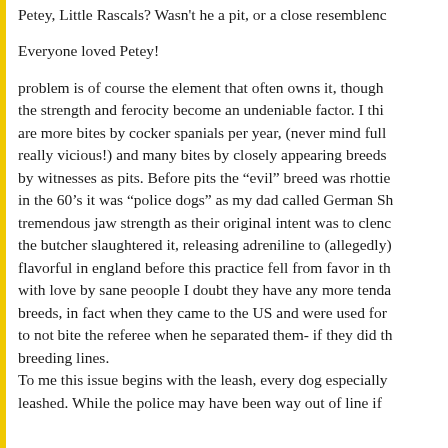Petey, Little Rascals? Wasn't he a pit, or a close resemblenc
Everyone loved Petey!
problem is of course the element that often owns it, though the strength and ferocity become an undeniable factor. I thi are more bites by cocker spanials per year, (never mind full really vicious!) and many bites by closely appearing breeds by witnesses as pits. Before pits the "evil" breed was rhottie in the 60's it was "police dogs" as my dad called German Sh tremendous jaw strength as their original intent was to clenc the butcher slaughtered it, releasing adreniline to (allegedly) flavorful in england before this practice fell from favor in th with love by sane peoople I doubt they have any more tenda breeds, in fact when they came to the US and were used for to not bite the referee when he separated them- if they did th breeding lines.
To me this issue begins with the leash, every dog especially leashed. While the police may have been way out of line if